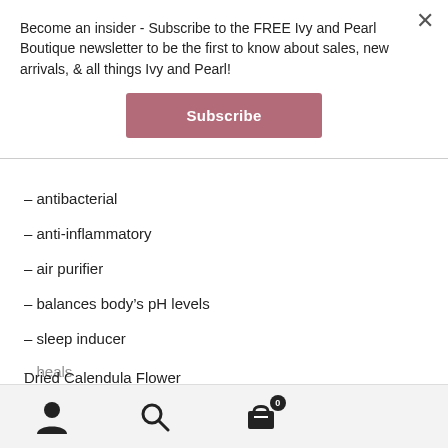Become an insider - Subscribe to the FREE Ivy and Pearl Boutique newsletter to be the first to know about sales, new arrivals, & all things Ivy and Pearl!
Subscribe
– antibacterial
– anti-inflammatory
– air purifier
– balances body's pH levels
– sleep inducer
Dried Calendula Flower
– hydrates
– heals